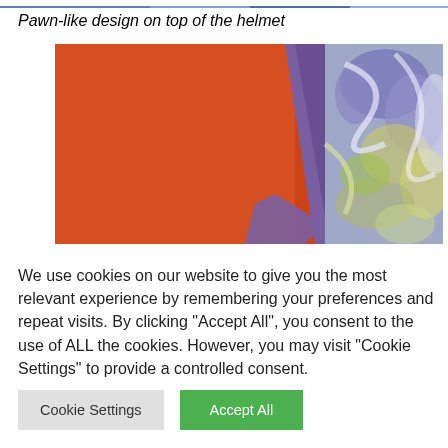[Figure (photo): Partial top strip of an image showing blue-toned colors at the very top of the page]
Pawn-like design on top of the helmet
[Figure (photo): Close-up photo of a helmet or artifact showing a large orange/red flat surface on the left merging with a purple outline, and a textured swirling pattern of purple, blue, yellow and white on the right side]
We use cookies on our website to give you the most relevant experience by remembering your preferences and repeat visits. By clicking "Accept All", you consent to the use of ALL the cookies. However, you may visit "Cookie Settings" to provide a controlled consent.
Cookie Settings
Accept All